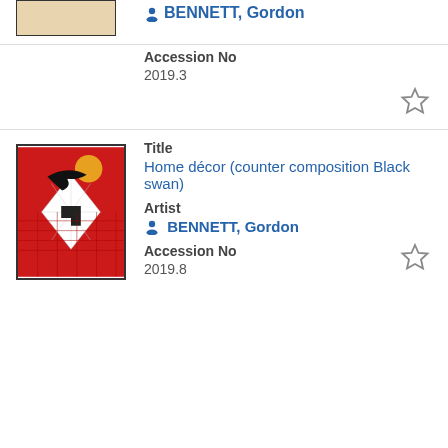[Figure (photo): Partial thumbnail of artwork at top left, cropped]
BENNETT, Gordon
Accession No
2019.3
[Figure (photo): Artwork thumbnail: Home décor (counter composition Black swan) - red, black, white geometric print with bird]
Title
Home décor (counter composition Black swan)
Artist
BENNETT, Gordon
Accession No
2019.8